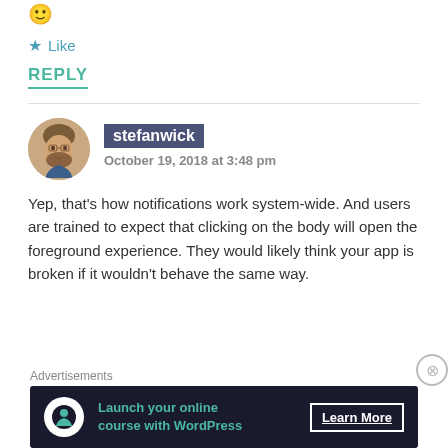🙂
★ Like
REPLY
[Figure (photo): Avatar photo of stefanwick, a bearded man smiling]
stefanwick
October 19, 2018 at 3:48 pm
Yep, that's how notifications work system-wide. And users are trained to expect that clicking on the body will open the foreground experience. They would likely think your app is broken if it wouldn't behave the same way.
Advertisements
[Figure (infographic): Advertisement banner: Launch your online course with WordPress — Learn More]